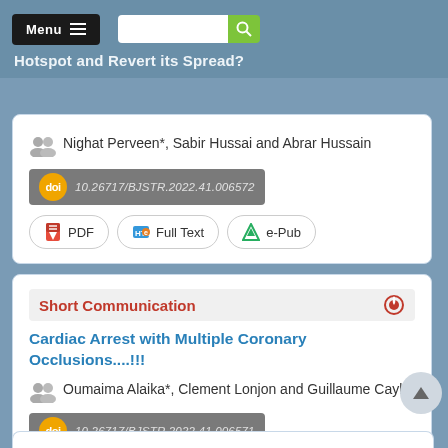[Figure (screenshot): Navigation bar with Menu button, hamburger icon, search input, and green search button]
Hotspot and Revert its Spread?
Nighat Perveen*, Sabir Hussai and Abrar Hussain
doi: 10.26717/BJSTR.2022.41.006572
PDF  Full Text  e-Pub
Short Communication
Cardiac Arrest with Multiple Coronary Occlusions....!!!
Oumaima Alaika*, Clement Lonjon and Guillaume Cayla
doi: 10.26717/BJSTR.2022.41.006571
PDF  Full Text  e-Pub